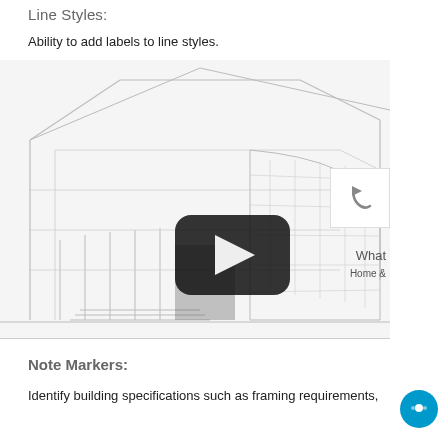Line Styles:
Ability to add labels to line styles.
[Figure (illustration): Architectural line drawing of a modern multi-story building shown in perspective, with a video play button overlay in the center. On the right side partially visible: a back/undo arrow button, the text 'What' and 'Home &' suggesting a sidebar UI panel.]
Note Markers:
Identify building specifications such as framing requirements,